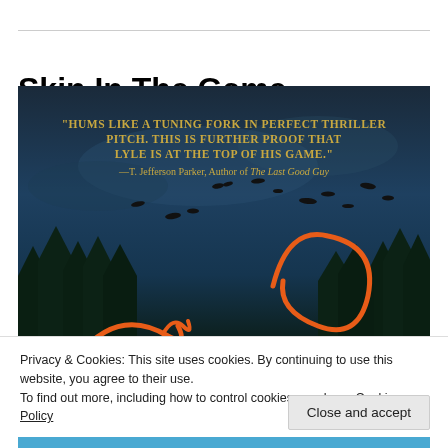Skin In The Game
[Figure (photo): Book cover image for 'Skin In The Game' with dark moody sky, birds in silhouette, pine trees, and orange script lettering. Quote in gold text reads: "HUMS LIKE A TUNING FORK IN PERFECT THRILLER PITCH. THIS IS FURTHER PROOF THAT LYLE IS AT THE TOP OF HIS GAME." —T. Jefferson Parker, Author of The Last Good Guy]
Privacy & Cookies: This site uses cookies. By continuing to use this website, you agree to their use.
To find out more, including how to control cookies, see here: Cookie Policy
Close and accept